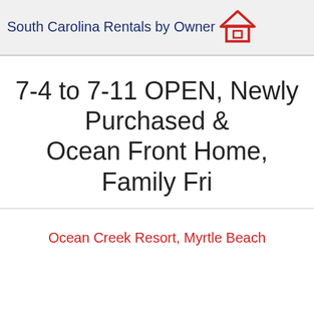South Carolina Rentals by Owner
7-4 to 7-11 OPEN, Newly Purchased & Ocean Front Home, Family Fri
Ocean Creek Resort, Myrtle Beach